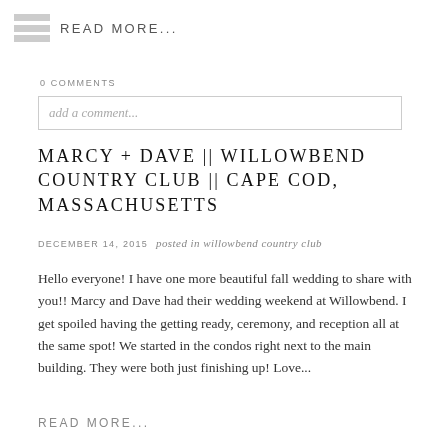READ MORE...
0 COMMENTS
add a comment...
MARCY + DAVE || WILLOWBEND COUNTRY CLUB || CAPE COD, MASSACHUSETTS
DECEMBER 14, 2015   posted in willowbend country club
Hello everyone! I have one more beautiful fall wedding to share with you!! Marcy and Dave had their wedding weekend at Willowbend. I get spoiled having the getting ready, ceremony, and reception all at the same spot! We started in the condos right next to the main building. They were both just finishing up! Love...
READ MORE...